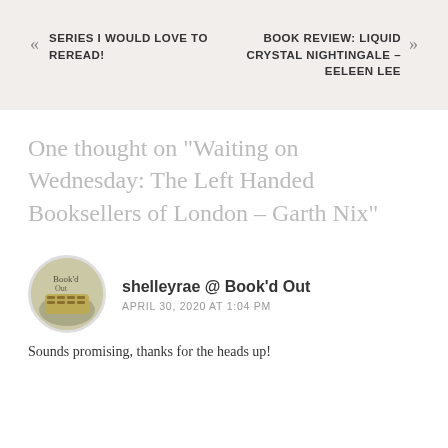SERIES I WOULD LOVE TO REREAD!
BOOK REVIEW: LIQUID CRYSTAL NIGHTINGALE – EELEEN LEE
One thought on “Waiting on Wednesday: The Left Handed Booksellers of London – Garth Nix”
shelleyrae @ Book’d Out
APRIL 30, 2020 AT 1:04 PM
Sounds promising, thanks for the heads up!